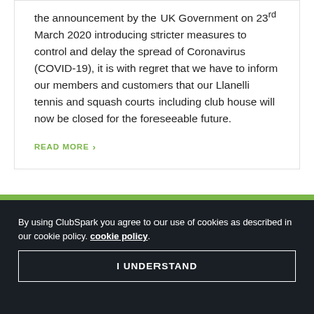the announcement by the UK Government on 23rd March 2020 introducing stricter measures to control and delay the spread of Coronavirus (COVID-19), it is with regret that we have to inform our members and customers that our Llanelli tennis and squash courts including club house will now be closed for the foreseeable future.
READ MORE ›
By using ClubSpark you agree to our use of cookies as described in our cookie policy. cookie policy. I UNDERSTAND